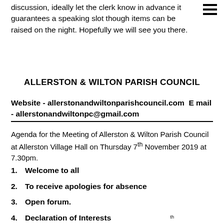discussion, ideally let the clerk know in advance it guarantees a speaking slot though items can be raised on the night. Hopefully we will see you there.
ALLERSTON & WILTON PARISH COUNCIL
Website - allerstonandwiltonparishcouncil.com  E mail - allerstonandwiltonpc@gmail.com
Agenda for the Meeting of Allerston & Wilton Parish Council at Allerston Village Hall on Thursday 7th November 2019 at 7.30pm.
1.   Welcome to all
2.   To receive apologies for absence
3.   Open forum.
4.   Declaration of Interests